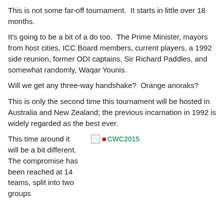format, pools, venues and schedules will all be announced.
This is not some far-off tournament.  It starts in little over 18 months.
It's going to be a bit of a do too.  The Prime Minister, mayors from host cities, ICC Board members, current players, a 1992 side reunion, former ODI captains, Sir Richard Paddles, and somewhat randomly, Waqar Younis.
Will we get any three-way handshake?  Orange anoraks?
This is only the second time this tournament will be hosted in Australia and New Zealand; the previous incarnation in 1992 is widely regarded as the best ever.
This time around it will be a bit different. The compromise has been reached at 14 teams, split into two groups
[Figure (photo): CWC2015 logo image placeholder]